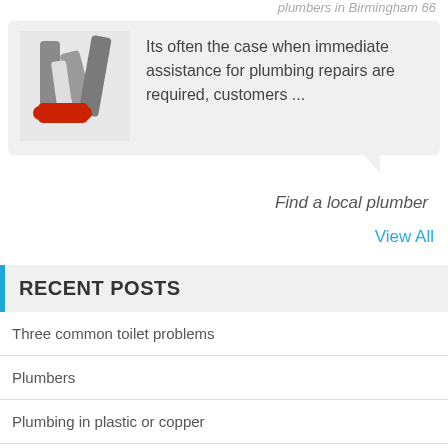plumbers in Birmingham 66
Its often the case when immediate assistance for plumbing repairs are required, customers ...
Find a local plumber
View All
RECENT POSTS
Three common toilet problems
Plumbers
Plumbing in plastic or copper
Lead pipe repairs
Outside tap installation